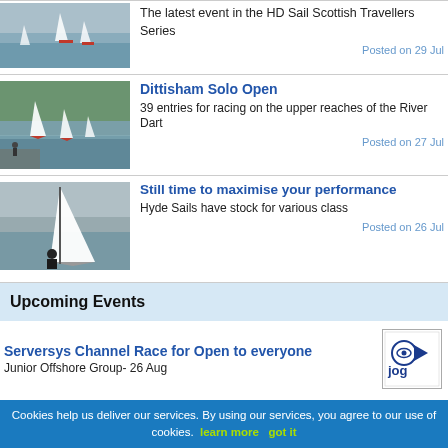[Figure (photo): Sailboats on water, cropped top news item thumbnail]
The latest event in the HD Sail Scottish Travellers Series
Posted on 29 Jul
[Figure (photo): Sailboats on a river, Dittisham Solo Open thumbnail]
Dittisham Solo Open
39 entries for racing on the upper reaches of the River Dart
Posted on 27 Jul
[Figure (photo): Sailboat with sailor on water, Hyde Sails thumbnail]
Still time to maximise your performance
Hyde Sails have stock for various class
Posted on 26 Jul
Upcoming Events
Serversys Channel Race for Open to everyone
Junior Offshore Group- 26 Aug
[Figure (logo): JOG Junior Offshore Group logo with sailboat icon]
Cookies help us deliver our services. By using our services, you agree to our use of cookies. learn more  got it